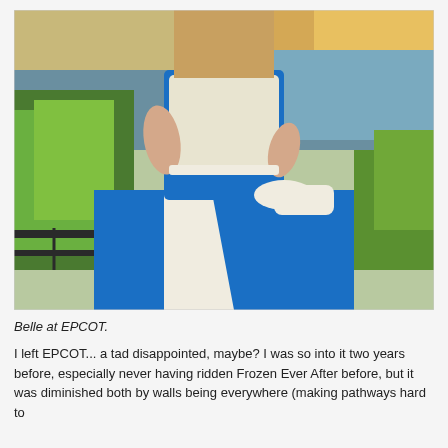[Figure (photo): A person dressed as Belle from Beauty and the Beast in a blue and white dress with a white apron, standing near a railing with water and greenery in the background, photographed from behind/side at golden hour.]
Belle at EPCOT.
I left EPCOT... a tad disappointed, maybe? I was so into it two years before, especially never having ridden Frozen Ever After before, but it was diminished both by walls being everywhere (making pathways hard to